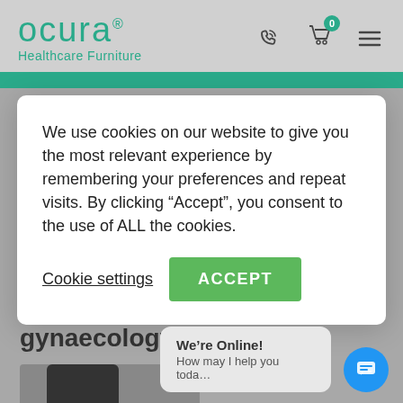[Figure (screenshot): Ocura Healthcare Furniture website header with teal logo, phone icon, cart icon with badge '0', and hamburger menu]
We use cookies on our website to give you the most relevant experience by remembering your preferences and repeat visits. By clicking “Accept”, you consent to the use of ALL the cookies.
Cookie settings
ACCEPT
gynaecology
We’re Online!
How may I help you toda…